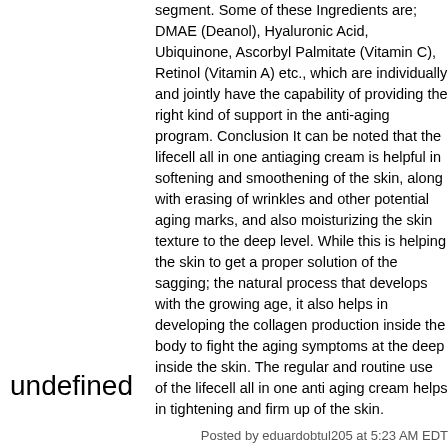segment. Some of these Ingredients are; DMAE (Deanol), Hyaluronic Acid, Ubiquinone, Ascorbyl Palmitate (Vitamin C), Retinol (Vitamin A) etc., which are individually and jointly have the capability of providing the right kind of support in the anti-aging program. Conclusion It can be noted that the lifecell all in one antiaging cream is helpful in softening and smoothening of the skin, along with erasing of wrinkles and other potential aging marks, and also moisturizing the skin texture to the deep level. While this is helping the skin to get a proper solution of the sagging; the natural process that develops with the growing age, it also helps in developing the collagen production inside the body to fight the aging symptoms at the deep inside the skin. The regular and routine use of the lifecell all in one anti aging cream helps in tightening and firm up of the skin.
Posted by eduardobtul205 at 5:23 AM EDT
Post Comment | View Comments (1) | Permalink | Share This Post
Newer | Latest | Older
undefined